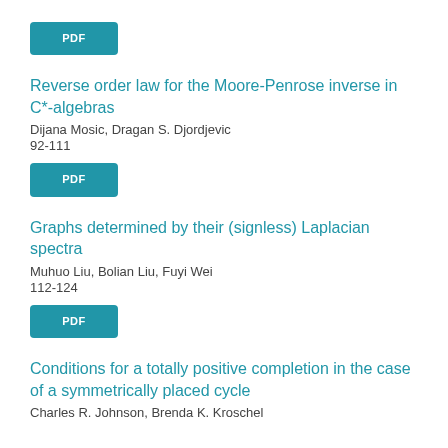[Figure (other): PDF button (teal/blue rounded rectangle with white PDF text)]
Reverse order law for the Moore-Penrose inverse in C*-algebras
Dijana Mosic, Dragan S. Djordjevic
92-111
[Figure (other): PDF button (teal/blue rounded rectangle with white PDF text)]
Graphs determined by their (signless) Laplacian spectra
Muhuo Liu, Bolian Liu, Fuyi Wei
112-124
[Figure (other): PDF button (teal/blue rounded rectangle with white PDF text)]
Conditions for a totally positive completion in the case of a symmetrically placed cycle
Charles R. Johnson, Brenda K. Kroschel